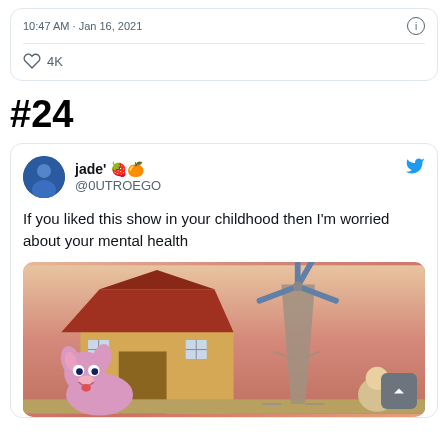10:47 AM · Jan 16, 2021
♡ 4K
#24
jade' 🍓🍊 @0UTROEGO
If you liked this show in your childhood then I'm worried about your mental health
[Figure (illustration): Cartoon image showing Courage the Cowardly Dog cartoon scene with a farmhouse/barn, windmill, and cartoon characters including a pink dog in the foreground]